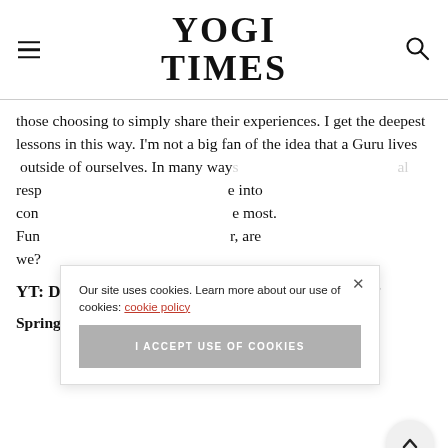YOGI TIMES
those choosing to simply share their experiences. I get the deepest lessons in this way. I'm not a big fan of the idea that a Guru lives  outside of ourselves. In many ways [partially obscured] al resp[partially obscured] e into con[partially obscured] e most. Fun[partially obscured]r, are we?
YT: Do you have a favorite quote to leave us with?
Spring Groove: “As we let our own light shine, we